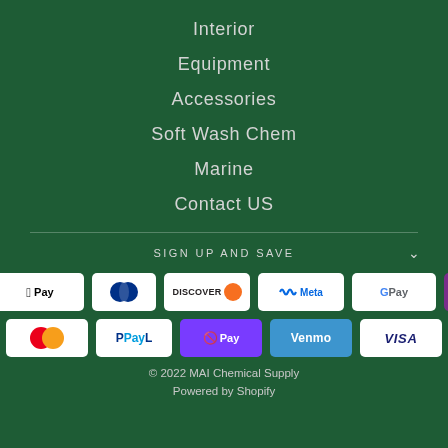Interior
Equipment
Accessories
Soft Wash Chem
Marine
Contact US
SIGN UP AND SAVE
[Figure (other): Payment method icons: American Express, Apple Pay, Diners Club, Discover, Meta Pay, Google Pay, Lay-Buy, Mastercard, PayPal, OPay, Venmo, Visa]
© 2022 MAI Chemical Supply
Powered by Shopify